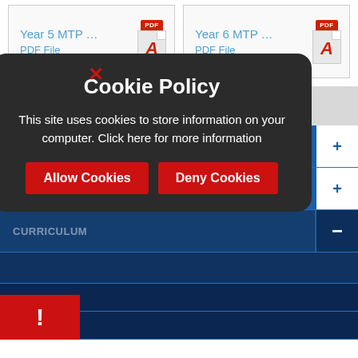[Figure (screenshot): Two file download cards side by side: 'Year 5 MTP ... PDF File' and 'Year 6 MTP ... PDF File', each with a PDF/Adobe icon]
CHULMLEIGH PRIMARY SCHOOL
[Figure (screenshot): Blue navigation menu with rows: ABOUT US (+), FOR PARENTS (+), CURRICULUM (-), and additional rows, with a dark cookie policy overlay modal in the foreground]
Cookie Policy
This site uses cookies to store information on your computer. Click here for more information
Allow Cookies
Deny Cookies